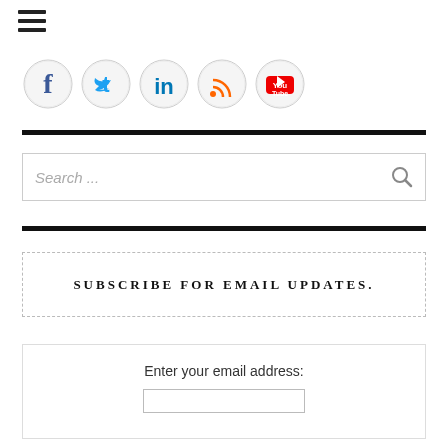[Figure (other): Hamburger menu icon (three horizontal lines)]
[Figure (other): Row of social media icons: Facebook, Twitter, LinkedIn, RSS, YouTube]
[Figure (other): Search box with placeholder text 'Search ...' and magnifying glass icon]
SUBSCRIBE FOR EMAIL UPDATES.
Enter your email address: